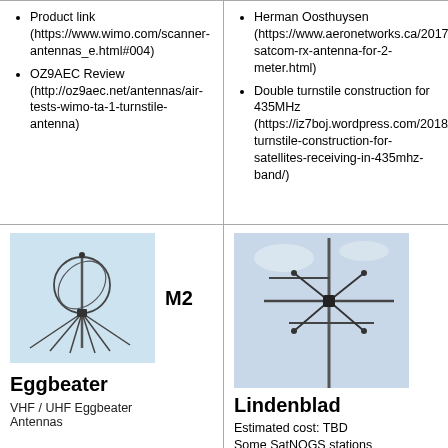Product link (https://www.wimo.com/scanner-antennas_e.html#004)
OZ9AEC Review (http://oz9aec.net/antennas/air-tests-wimo-ta-1-turnstile-antenna)
Herman Oosthuysen (https://www.aeronetworks.ca/2017/12/amateur-satcom-rx-antenna-for-2-meter.html)
Double turnstile construction for 435MHz (https://iz7boj.wordpress.com/2018/12/02/double-turnstile-construction-for-satellites-receiving-in-435mhz-band/)
[Figure (photo): VHF/UHF Eggbeater antenna photo on light blue background]
M2
Eggbeater
VHF / UHF Eggbeater Antennas
[Figure (photo): Lindenblad antenna photo against sky background]
Lindenblad
Estimated cost: TBD
Some SatNOGS stations using this antenna: